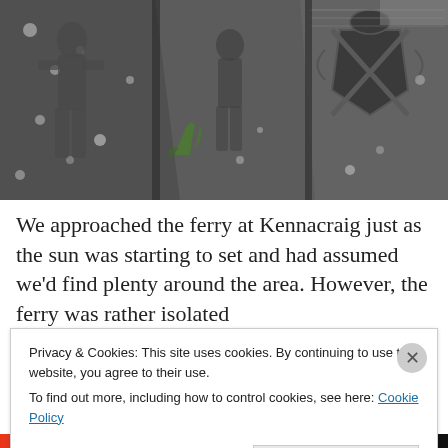[Figure (photo): Close-up photograph of weathered stone grave slabs or memorial stones with carved effigies and a heraldic coat of arms, covered in lichen, viewed from above.]
We approached the ferry at Kennacraig just as the sun was starting to set and had assumed we'd find plenty around the area. However, the ferry was rather isolated
Privacy & Cookies: This site uses cookies. By continuing to use this website, you agree to their use.
To find out more, including how to control cookies, see here: Cookie Policy